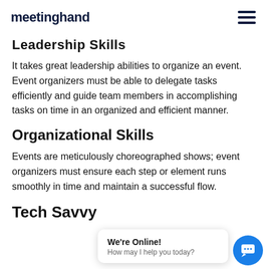meetinghand
Leadership Skills
It takes great leadership abilities to organize an event. Event organizers must be able to delegate tasks efficiently and guide team members in accomplishing tasks on time in an organized and efficient manner.
Organizational Skills
Events are meticulously choreographed shows; event organizers must ensure each step or element runs smoothly in time and maintain a successful flow.
Tech Savvy
[Figure (screenshot): Live chat widget overlay showing 'We're Online! How may I help you today?' with a blue circular chat icon button in the bottom right corner.]